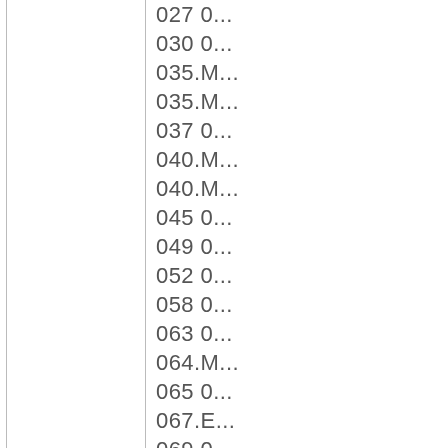| 027 0... |
| 030 0... |
| 035.M... |
| 035.M... |
| 037 0... |
| 040.M... |
| 040.M... |
| 045 0... |
| 049 0... |
| 052 0... |
| 058 0... |
| 063 0... |
| 064.M... |
| 065 0... |
| 067.E... |
| 069 0... |
| 072 0... |
| 078 0... |
| 079.M... |